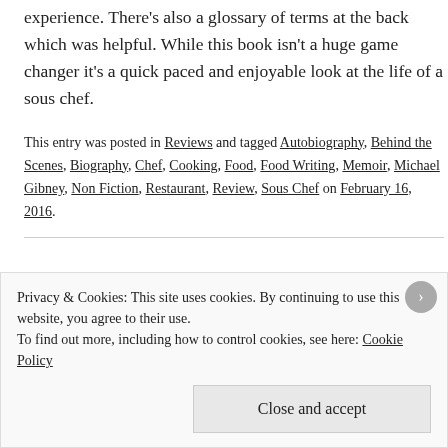experience. There's also a glossary of terms at the back which was helpful. While this book isn't a huge game changer it's a quick paced and enjoyable look at the life of a sous chef.
This entry was posted in Reviews and tagged Autobiography, Behind the Scenes, Biography, Chef, Cooking, Food, Food Writing, Memoir, Michael Gibney, Non Fiction, Restaurant, Review, Sous Chef on February 16, 2016.
Privacy & Cookies: This site uses cookies. By continuing to use this website, you agree to their use.
To find out more, including how to control cookies, see here: Cookie Policy